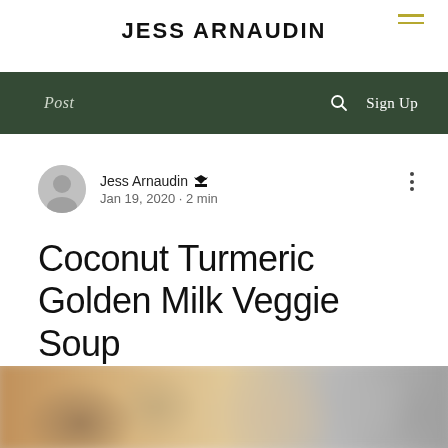JESS ARNAUDIN
Post · Sign Up
Jess Arnaudin Admin
Jan 19, 2020 · 2 min
Coconut Turmeric Golden Milk Veggie Soup
[Figure (photo): Blurred food photo at the bottom of the page, showing a bowl of soup with warm beige and brown tones]